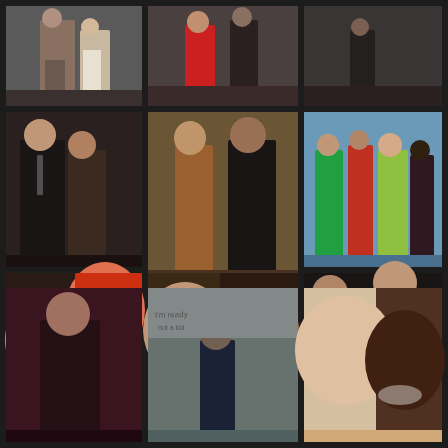[Figure (photo): Photo collage grid of 12 photos showing groups of people at social events, parties, and gatherings. 3 columns x 4 rows layout with dark background gaps between photos.]